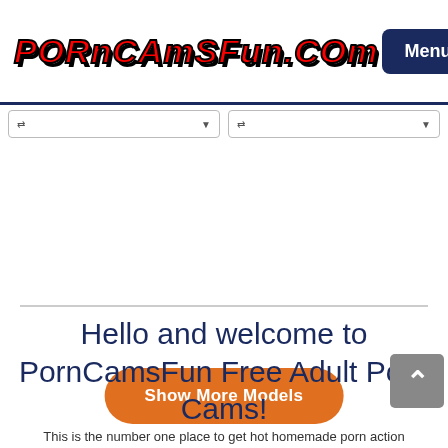PORNCAMSFUN.COM
[Figure (screenshot): Navigation menu button with hamburger icon, dark navy background, white text reading 'Menu']
[Figure (screenshot): Two filter/search input boxes with dropdown arrows]
[Figure (screenshot): Orange rounded button labeled 'Show More Models']
Hello and welcome to PornCamsFun Free Adult Porn Cams!
This is the number one place to get hot homemade porn action